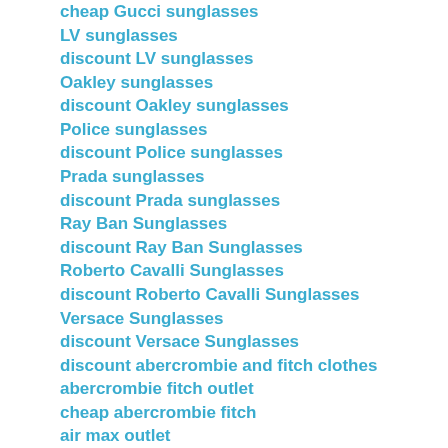cheap Gucci sunglasses
LV sunglasses
discount LV sunglasses
Oakley sunglasses
discount Oakley sunglasses
Police sunglasses
discount Police sunglasses
Prada sunglasses
discount Prada sunglasses
Ray Ban Sunglasses
discount Ray Ban Sunglasses
Roberto Cavalli Sunglasses
discount Roberto Cavalli Sunglasses
Versace Sunglasses
discount Versace Sunglasses
discount abercrombie and fitch clothes
abercrombie fitch outlet
cheap abercrombie fitch
air max outlet
discount air max
air max nike
discount LV handbag